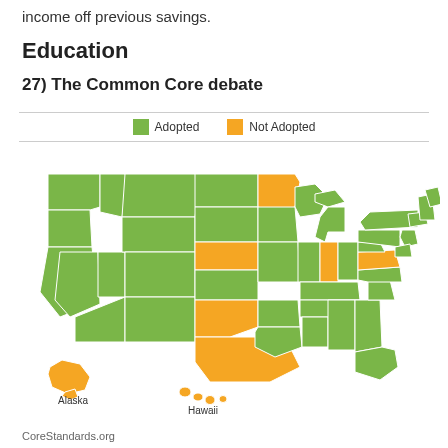income off previous savings.
Education
27) The Common Core debate
[Figure (map): US map showing which states have Adopted (green) or Not Adopted (orange) Common Core standards. Not Adopted states include Minnesota, Nebraska, Oklahoma, Texas, Indiana, Virginia, Alaska, and a few others. Most states are shown in green (Adopted). Hawaii is shown in orange. Alaska and Hawaii are shown as insets at bottom left. Legend shows green = Adopted, orange = Not Adopted.]
CoreStandards.org